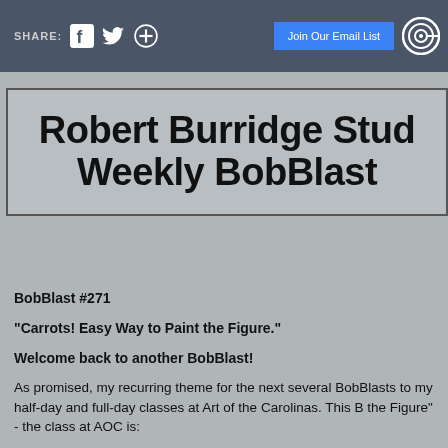SHARE: [facebook] [twitter] [+]  Join Our Email List  [icon]
Robert Burridge Studio Weekly BobBlast
BobBlast #271
"Carrots! Easy Way to Paint the Figure."
Welcome back to another BobBlast!
As promised, my recurring theme for the next several BobBlasts to my half-day and full-day classes at Art of the Carolinas. This B the Figure" - the class at AOC is:
Friday 11/15 - Burridge's Easy Way to Paint the Figure (FR...